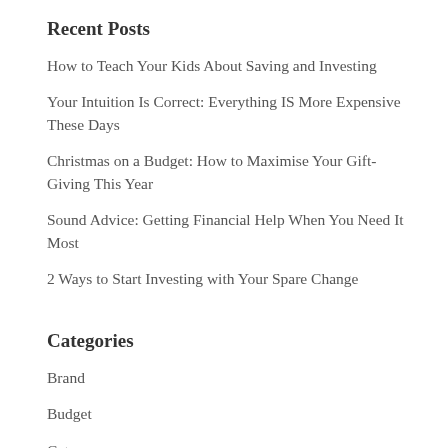Recent Posts
How to Teach Your Kids About Saving and Investing
Your Intuition Is Correct: Everything IS More Expensive These Days
Christmas on a Budget: How to Maximise Your Gift-Giving This Year
Sound Advice: Getting Financial Help When You Need It Most
2 Ways to Start Investing with Your Spare Change
Categories
Brand
Budget
Category
Economy
Family